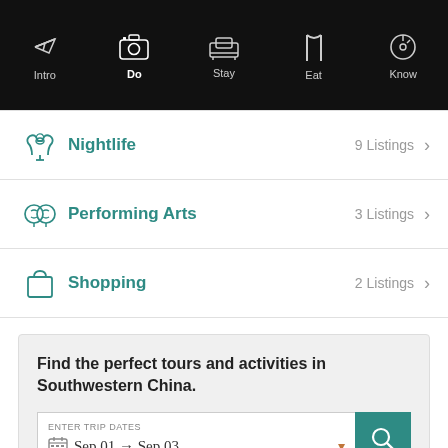Intro | Do | Stay | Eat | Know
Nightlife — 9 Listings
Performing Arts — 3 Listings
Shopping — 2 Listings
Find the perfect tours and activities in Southwestern China.
ENTER TRIP DATES
Sep 01 → Sep 03
Powered by GetYourGuide